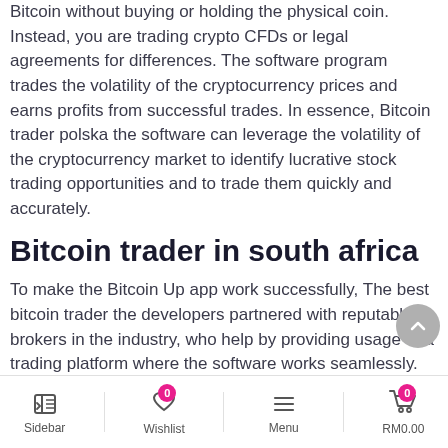Bitcoin without buying or holding the physical coin. Instead, you are trading crypto CFDs or legal agreements for differences. The software program trades the volatility of the cryptocurrency prices and earns profits from successful trades. In essence, Bitcoin trader polska the software can leverage the volatility of the cryptocurrency market to identify lucrative stock trading opportunities and to trade them quickly and accurately.
Bitcoin trader in south africa
To make the Bitcoin Up app work successfully, The best bitcoin trader the developers partnered with reputable brokers in the industry, who help by providing usage of a trading platform where the software works seamlessly. These agents also provide other important trading tools and services, educational resources, secure banking.
[Figure (other): Mobile app bottom navigation bar with Sidebar, Wishlist (badge 0), Menu, and cart RM0.00 (badge 0) icons]